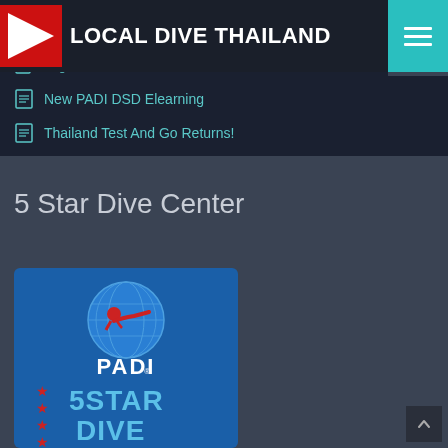Will Scuba Diving Hurt My Ears?
LOCAL DIVE THAILAND
Single Use Plastics Banned In Thai National Parks
New PADI DSD Elearning
Thailand Test And Go Returns!
5 Star Dive Center
[Figure (logo): PADI 5 Star Dive Center logo on blue background with red diver globe icon, PADI text, red stars, and '5 STAR DIVE' text]